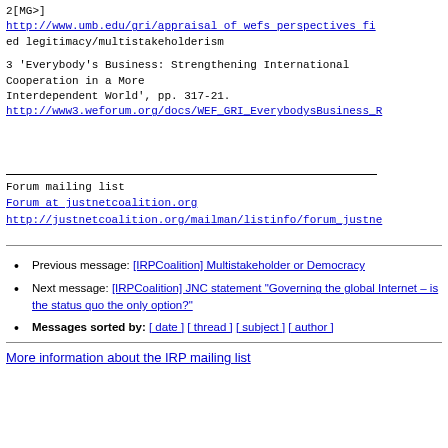2[MG>]
http://www.umb.edu/gri/appraisal of wefs perspectives fi
ed legitimacy/multistakeholderism
3 'Everybody's Business: Strengthening International Cooperation in a More
Interdependent World', pp. 317-21.
http://www3.weforum.org/docs/WEF_GRI_EverybodysBusiness_R
Forum mailing list
Forum at justnetcoalition.org
http://justnetcoalition.org/mailman/listinfo/forum_justne
Previous message: [IRPCoalition] Multistakeholder or Democracy
Next message: [IRPCoalition] JNC statement "Governing the global Internet – is the status quo the only option?"
Messages sorted by: [ date ] [ thread ] [ subject ] [ author ]
More information about the IRP mailing list